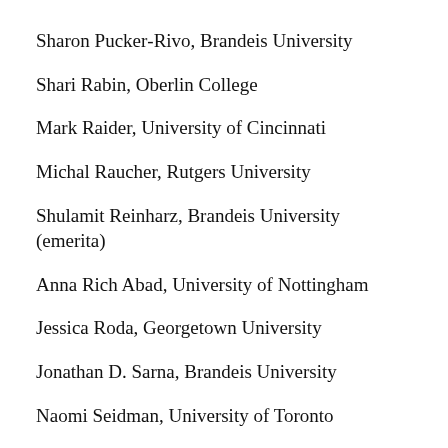Sharon Pucker-Rivo, Brandeis University
Shari Rabin, Oberlin College
Mark Raider, University of Cincinnati
Michal Raucher, Rutgers University
Shulamit Reinharz, Brandeis University (emerita)
Anna Rich Abad, University of Nottingham
Jessica Roda, Georgetown University
Jonathan D. Sarna, Brandeis University
Naomi Seidman, University of Toronto